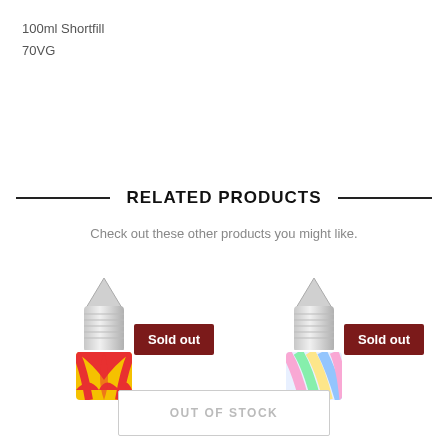100ml Shortfill
70VG
RELATED PRODUCTS
Check out these other products you might like.
[Figure (photo): Shortfill bottle with colorful red/yellow swirl label and silver cap, with 'Sold out' badge]
[Figure (photo): Shortfill bottle with colorful pastel rainbow swirl label and silver cap, with 'Sold out' badge]
OUT OF STOCK